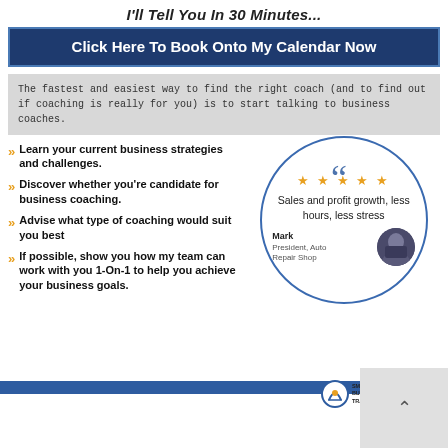I'll Tell You In 30 Minutes...
Click Here To Book Onto My Calendar Now
The fastest and easiest way to find the right coach (and to find out if coaching is really for you) is to start talking to business coaches.
Learn your current business strategies and challenges.
Discover whether you're candidate for business coaching.
Advise what type of coaching would suit you best
If possible, show you how my team can work with you 1-On-1 to help you achieve your business goals.
[Figure (illustration): Circular testimonial graphic with 5 gold stars, quote text reading 'Sales and profit growth, less hours, less stress', and a photo of Mark, President, Auto Repair Shop]
Small Business Track logo and footer bar